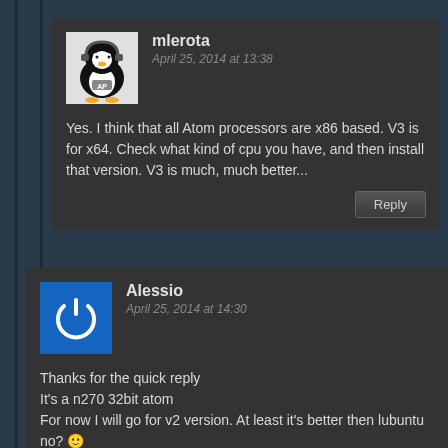[Figure (illustration): Avatar of a penguin with headphones and 'AP' text, for user mlerota]
mlerota
April 25, 2014 at 13:38
Yes. I think that all Atom processors are x86 based. V3 is for x64. Check what kind of cpu you have, and then install that version. V3 is much, much better...
Reply
[Figure (illustration): Avatar with blue background and white power button icon, for user Alessio]
Alessio
April 25, 2014 at 14:30
Thanks for the quick reply
It's a n270 32bit atom
For now I will go for v2 version. At least it's better then lubuntu no? 🙂
Reply